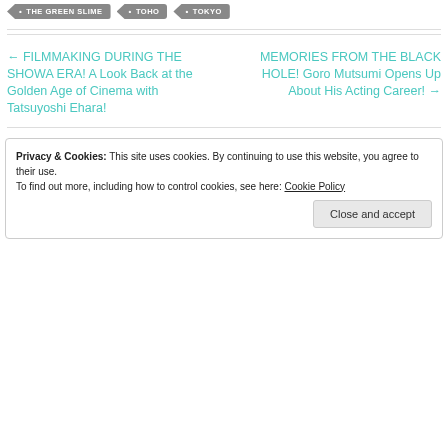THE GREEN SLIME
TOHO
TOKYO
← FILMMAKING DURING THE SHOWA ERA! A Look Back at the Golden Age of Cinema with Tatsuyoshi Ehara!
MEMORIES FROM THE BLACK HOLE! Goro Mutsumi Opens Up About His Acting Career! →
Privacy & Cookies: This site uses cookies. By continuing to use this website, you agree to their use. To find out more, including how to control cookies, see here: Cookie Policy
Close and accept